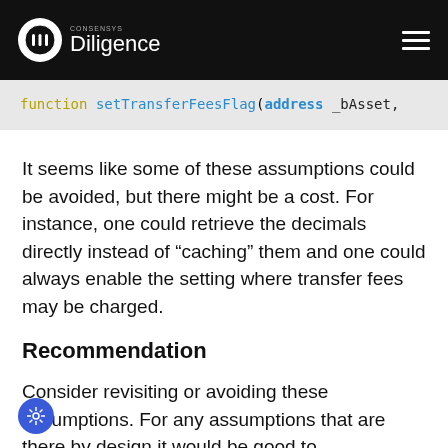CONSENSYS Diligence
[Figure (screenshot): Code snippet showing: function setTransferFeesFlag(address _bAsset,]
It seems like some of these assumptions could be avoided, but there might be a cost. For instance, one could retrieve the decimals directly instead of “caching” them and one could always enable the setting where transfer fees may be charged.
Recommendation
Consider revisiting or avoiding these assumptions. For any assumptions that are there by design it would be good to